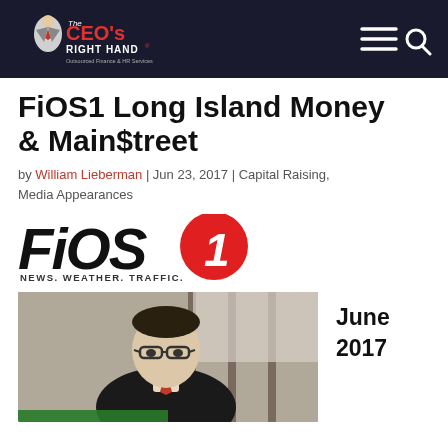The CEO's Right Hand® — Outsourced Finance & HR Services
FiOS1 Long Island Money & Main$treet
by William Lieberman | Jun 23, 2017 | Capital Raising, Media Appearances
[Figure (logo): FiOS1 logo with tagline NEWS. WEATHER. TRAFFIC.]
[Figure (photo): Video thumbnail showing a man in a suit with glasses being interviewed, likely William Lieberman]
June 2017